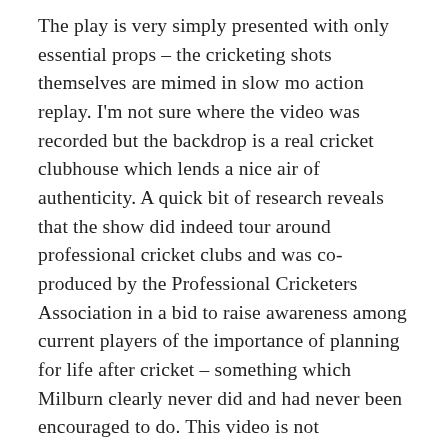The play is very simply presented with only essential props – the cricketing shots themselves are mimed in slow mo action replay. I'm not sure where the video was recorded but the backdrop is a real cricket clubhouse which lends a nice air of authenticity. A quick bit of research reveals that the show did indeed tour around professional cricket clubs and was co-produced by the Professional Cricketers Association in a bid to raise awareness among current players of the importance of planning for life after cricket – something which Milburn clearly never did and had never been encouraged to do. This video is not particularly high profile, but it is worth seeking out for its unusual story and Gaisford's excellent performance. It also perhaps sheds a light on how sports people may (or may not) have been coping with the loss of their raison d'etre over the last few months.